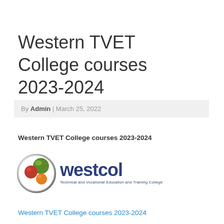Western TVET College courses 2023-2024
By Admin | March 25, 2022
Western TVET College courses 2023-2024
[Figure (logo): Westcol logo — Technical and Vocational Education and Training College, with coloured spheres icon]
Western TVET College courses 2023-2024